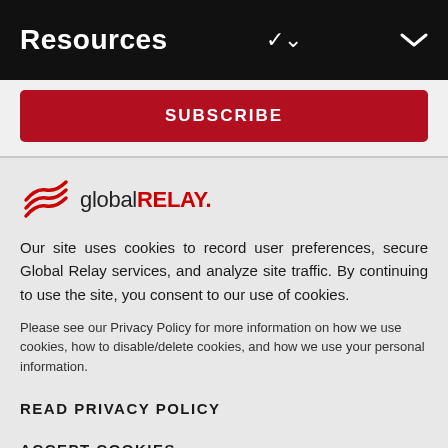Resources
SUBSCRIBE
[Figure (logo): Global Relay logo with stylized red wave icon, text 'global' in dark and 'RELAY.' in red]
Our site uses cookies to record user preferences, secure Global Relay services, and analyze site traffic. By continuing to use the site, you consent to our use of cookies.
Please see our Privacy Policy for more information on how we use cookies, how to disable/delete cookies, and how we use your personal information.
READ PRIVACY POLICY
ACCEPT COOKIES